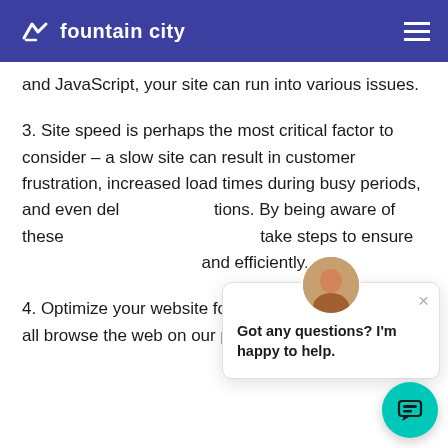fountain city
and JavaScript, your site can run into various issues.
3. Site speed is perhaps the most critical factor to consider – a slow site can result in customer frustration, increased load times during busy periods, and even delays in executing actions. By being aware of these issues, you can take steps to ensure your site runs smoothly and efficiently.
4. Optimize your website for mobile. These days we all browse the web on our phones, but many